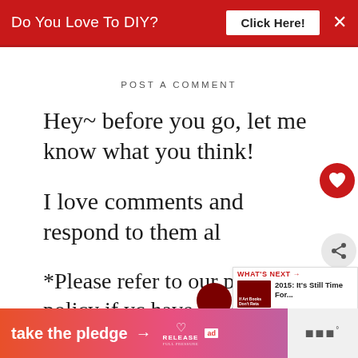[Figure (screenshot): Red banner advertisement: 'Do You Love To DIY? Click Here!' with white X close button]
POST A COMMENT
Hey~ before you go, let me know what you think!
I love comments and respond to them al
*Please refer to our privacy policy if yo have questions regarding your profile. note that comments with links w published.
[Figure (screenshot): Bottom advertisement banner: 'take the pledge' with arrow, RELEASE branding, ad badge, and media logo]